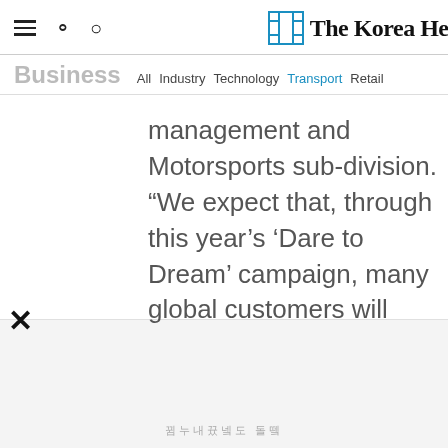The Korea He[rald]
Business  All  Industry  Technology  Transport  Retail
management and Motorsports sub-division. “We expect that, through this year’s ‘Dare to Dream’ campaign, many global customers will